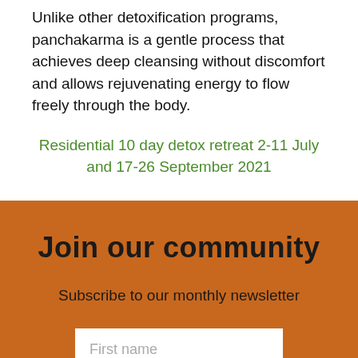Unlike other detoxification programs, panchakarma is a gentle process that achieves deep cleansing without discomfort and allows rejuvenating energy to flow freely through the body.
Residential 10 day detox retreat 2-11 July and 17-26 September 2021
Join our community
Subscribe to our monthly newsletter
First name